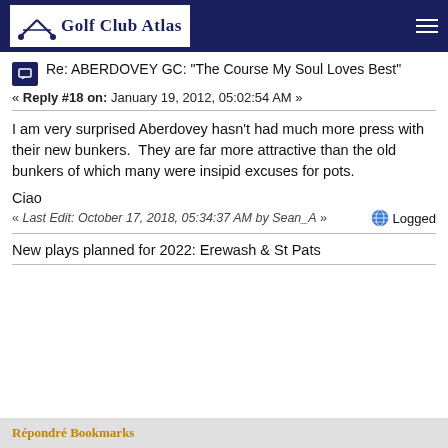Golf Club Atlas
Re: ABERDOVEY GC: "The Course My Soul Loves Best"
« Reply #18 on: January 19, 2012, 05:02:54 AM »
I am very surprised Aberdovey hasn't had much more press with their new bunkers.  They are far more attractive than the old bunkers of which many were insipid excuses for pots.
Ciao
« Last Edit: October 17, 2018, 05:34:37 AM by Sean_A »  Logged
New plays planned for 2022: Erewash & St Pats
Répondre Bookmarks